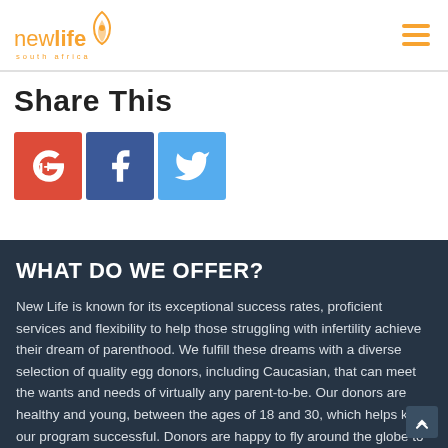new life south africa
Share This
[Figure (other): Social sharing buttons: Google+, Facebook, Twitter]
WHAT DO WE OFFER?
New Life is known for its exceptional success rates, proficient services and flexibility to help those struggling with infertility achieve their dream of parenthood. We fulfill these dreams with a diverse selection of quality egg donors, including Caucasian, that can meet the wants and needs of virtually any parent-to-be. Our donors are healthy and young, between the ages of 18 and 30, which helps keep our program successful. Donors are happy to fly around the globe to your destination of choice. New Life provides every donor with an incomparable compensation package, co